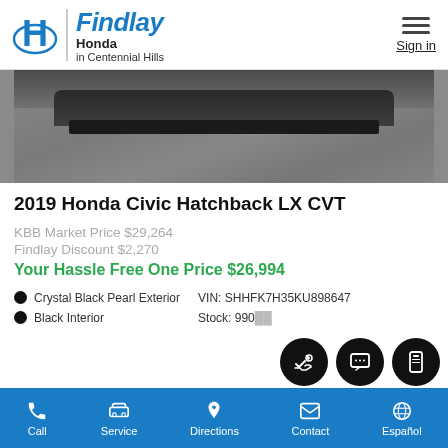Findlay Honda in Centennial Hills
[Figure (photo): Partial view of a dark/black Honda Civic Hatchback from the front, photographed on asphalt pavement. Only the lower front portion of the vehicle is visible.]
2019 Honda Civic Hatchback LX CVT
KBB Market Price $29,264
Findlay Discount $2,270
Your Hassle Free One Price $26,994
Crystal Black Pearl Exterior
Black Interior
VIN: SHHFK7H35KU898647
Stock: 99[partially obscured]
Call  Service  Directions  Contact  Español